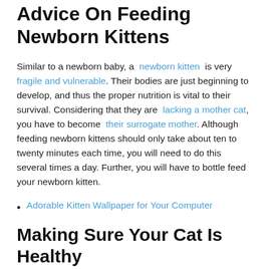Advice On Feeding Newborn Kittens
Similar to a newborn baby, a newborn kitten is very fragile and vulnerable. Their bodies are just beginning to develop, and thus the proper nutrition is vital to their survival. Considering that they are lacking a mother cat, you have to become their surrogate mother. Although feeding newborn kittens should only take about ten to twenty minutes each time, you will need to do this several times a day. Further, you will have to bottle feed your newborn kitten.
Adorable Kitten Wallpaper for Your Computer
Making Sure Your Cat Is Healthy